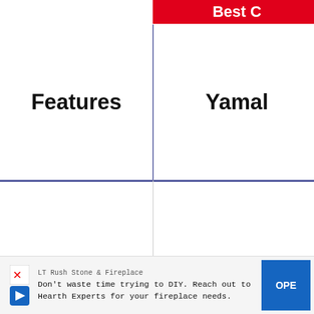| Features | Yamal... |
| --- | --- |
| Product Image | [keyboard image] |
| Product Price | Chec... |
[Figure (photo): A Yamaha keyboard piano product photo, partially cropped on the right side]
LT Rush Stone & Fireplace
Don't waste time trying to DIY. Reach out to Hearth Experts for your fireplace needs.
OPEN